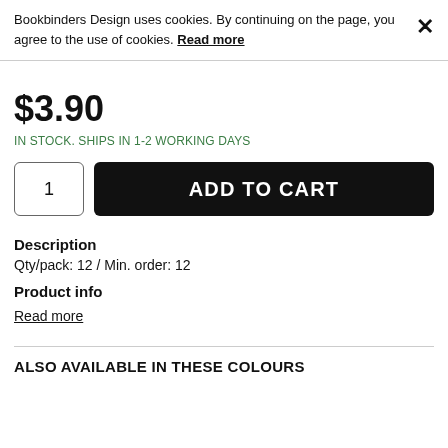Bookbinders Design uses cookies. By continuing on the page, you agree to the use of cookies. Read more ✕
$3.90
IN STOCK. SHIPS IN 1-2 WORKING DAYS
1   ADD TO CART
Description
Qty/pack: 12 / Min. order: 12
Product info
Read more
ALSO AVAILABLE IN THESE COLOURS